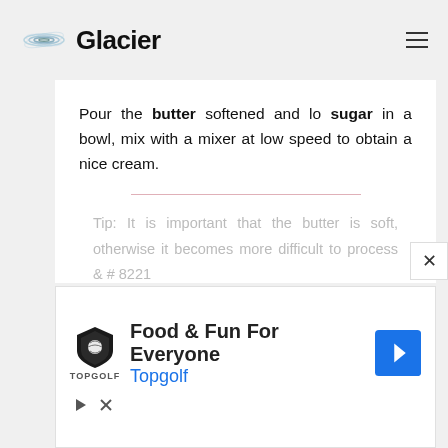Glacier
Pour the butter softened and lo sugar in a bowl, mix with a mixer at low speed to obtain a nice cream.
Tip: It is important that the butter is soft, otherwise it becomes more difficult to process & # 8221
[Figure (infographic): Advertisement banner for Topgolf: Food & Fun For Everyone]
Food & Fun For Everyone
Topgolf